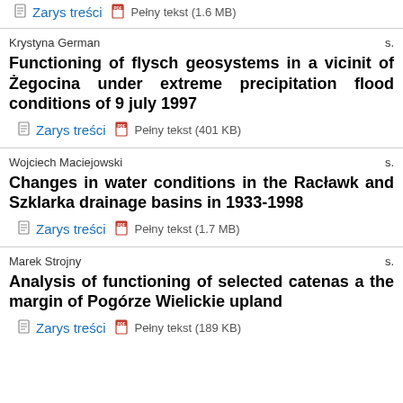Zarys treści  Pełny tekst (1.6 MB)
Krystyna German  s.
Functioning of flysch geosystems in a vicinity of Żegocina under extreme precipitation flood conditions of 9 july 1997
Zarys treści  Pełny tekst (401 KB)
Wojciech Maciejowski  s.
Changes in water conditions in the Racławka and Szklarka drainage basins in 1933-1998
Zarys treści  Pełny tekst (1.7 MB)
Marek Strojny  s.
Analysis of functioning of selected catenas at the margin of Pogórze Wielickie upland
Zarys treści  Pełny tekst (189 KB)